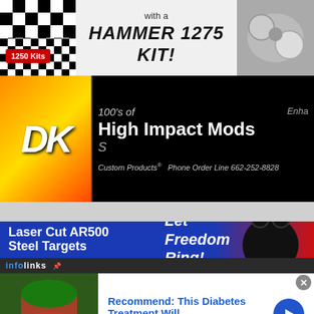[Figure (advertisement): Hammer 1275 Kit banner ad with checkered flag background and 1250 Kits badge]
[Figure (advertisement): DK Custom Products banner - 100's of High Impact Mods, Phone Order Line 662-252-8828]
[Figure (advertisement): Laser Cut AR500 Steel Targets - Let Freedom Ring! blue banner with steel target]
Advertise Here
[Figure (advertisement): Infolinks ad overlay: Recommend: This Diabetes Treatment Will, n/a]
Recommend: This Diabetes Treatment Will
n/a